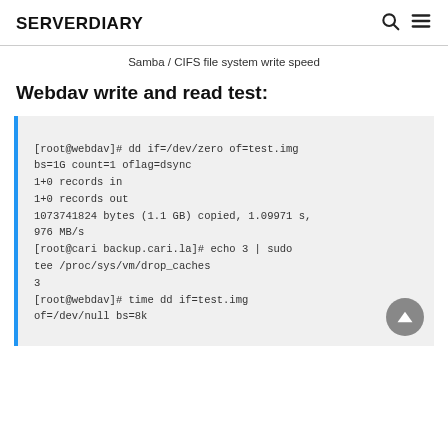SERVERDIARY
Samba / CIFS file system write speed
Webdav write and read test:
[root@webdav]# dd if=/dev/zero of=test.img bs=1G count=1 oflag=dsync
1+0 records in
1+0 records out
1073741824 bytes (1.1 GB) copied, 1.09971 s, 976 MB/s
[root@cari backup.cari.la]# echo 3 | sudo tee /proc/sys/vm/drop_caches
3
[root@webdav]# time dd if=test.img of=/dev/null bs=8k